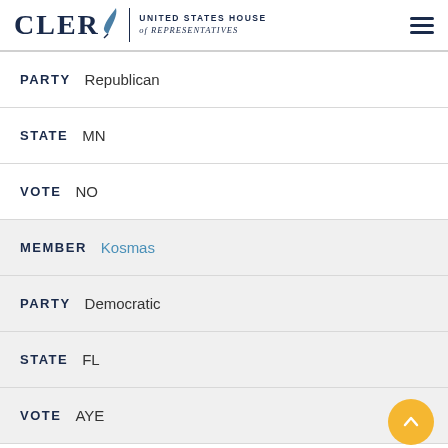CLERK United States House of Representatives
PARTY  Republican
STATE  MN
VOTE  NO
MEMBER  Kosmas
PARTY  Democratic
STATE  FL
VOTE  AYE